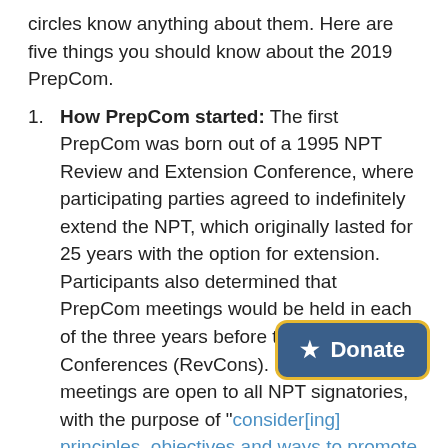circles know anything about them. Here are five things you should know about the 2019 PrepCom.
How PrepCom started: The first PrepCom was born out of a 1995 NPT Review and Extension Conference, where participating parties agreed to indefinitely extend the NPT, which originally lasted for 25 years with the option for extension. Participants also determined that PrepCom meetings would be held in each of the three years before the Review Conferences (RevCons). PrepCom meetings are open to all NPT signatories, with the purpose of "consider[ing] principles, objectives and ways to promote the implementation of the Treaty" and to "make recommendations thereon to the Review Conference." The first PrepCom meeting took
[Figure (other): Donate button with star icon, dark blue background with yellow border, reading 'Donate']